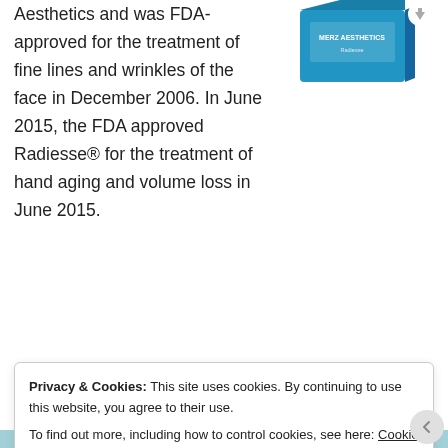Aesthetics and was FDA-approved for the treatment of fine lines and wrinkles of the face in December 2006. In June 2015, the FDA approved Radiesse® for the treatment of hand aging and volume loss in June 2015.
[Figure (photo): Blue Merz Aesthetics product box]
Radiesse® is made of a calcium product
Privacy & Cookies: This site uses cookies. By continuing to use this website, you agree to their use. To find out more, including how to control cookies, see here: Cookie Policy
Close and accept